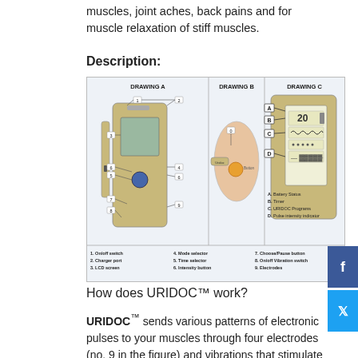muscles, joint aches, back pains and for muscle relaxation of stiff muscles.
Description:
[Figure (engineering-diagram): URIDOC device diagram showing Drawing A (device components labeled 1-8), Drawing B (electrode placement on body), and Drawing C (display panel with Battery Status, Timer, URIDOC Programs, Pulse intensity indicator). Legend: 1. On/off switch, 2. Charger port, 3. LCD screen, 4. Mode selector, 5. Time selector, 6. Intensity button, 7. Choose/Pause button, 8. On/off Vibration switch, 9. Electrodes]
How does URIDOC™ work?
URIDOC™ sends various patterns of electronic pulses to your muscles through four electrodes (no. 9 in the figure) and vibrations that stimulate the muscles . The muscles surrounding the bladder respond to the pulses by contracting and